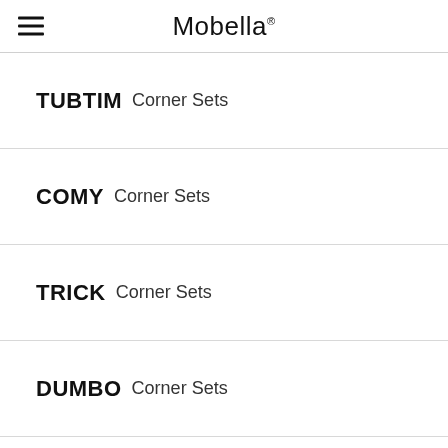Mobella
TUBTIM Corner Sets
COMY Corner Sets
TRICK Corner Sets
DUMBO Corner Sets
MONTEREY Corner Sets